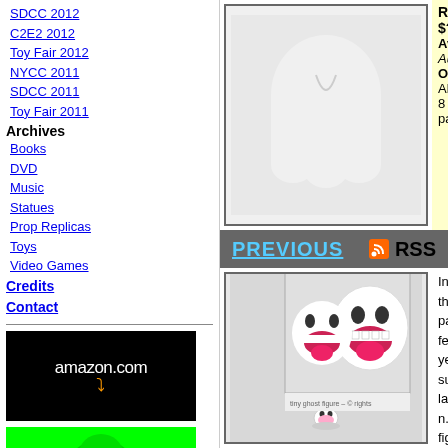SDCC 2012
C2E2 2012
Toy Fair 2012
NYCC 2011
SDCC 2011
Toy Fair 2011
Archives
Books
DVD
Music
Statues
Prop Replicas
Toys
Video Games
Credits
Contact
[Figure (photo): White ghost/Boo figure product photo on white background]
Availability: Augu
Other: All 8 packs
PREVIOUS
RSS
[Figure (photo): Amazon.com advertisement banner with black background and logo]
[Figure (photo): Green glowing ghost/slug figure photo]
[Figure (photo): Two Mario Boo ghost figures with open mouths and tongues, plus a small figure at bottom]
In the past few yea... surprisingly large n... figures. I may hav... Boos. I made som... there was an orga... me with my Boos ... apparently a) ther... to do with anothe... entirely. Anyway, ... Right, tiny game p... toy with a card an...
The tiny figure co... base and bel...